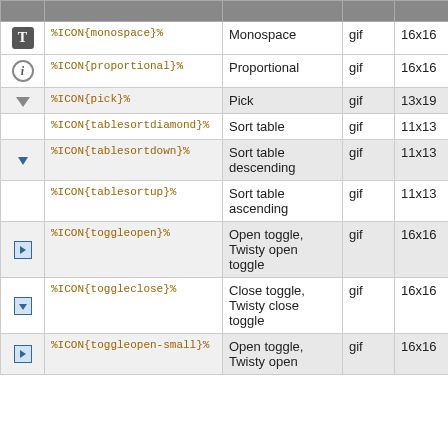| (icon) | Code | Description | Type | Size |
| --- | --- | --- | --- | --- |
| T-icon | %ICON{monospace}% | Monospace | gif | 16x16 |
| i-icon | %ICON{proportional}% | Proportional | gif | 16x16 |
| arrow-down | %ICON{pick}% | Pick | gif | 13x19 |
|  | %ICON{tablesortdiamond}% | Sort table | gif | 11x13 |
| tri-down | %ICON{tablesortdown}% | Sort table descending | gif | 11x13 |
|  | %ICON{tablesortup}% | Sort table ascending | gif | 11x13 |
| box-right | %ICON{toggleopen}% | Open toggle, Twisty open toggle | gif | 16x16 |
| box-down | %ICON{toggleclose}% | Close toggle, Twisty close toggle | gif | 16x16 |
| box-right | %ICON{toggleopen-small}% | Open toggle, Twisty open | gif | 16x16 |